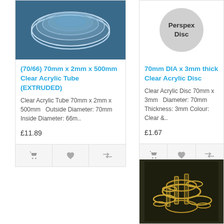[Figure (photo): Clear acrylic tube viewed from above on blue background]
(70/66) 70mm x 2mm x 500mm Clear Acrylic Tube (EXTRUDED)
Clear Acrylic Tube 70mm x 2mm x 500mm   Outside Diameter: 70mm Inside Diameter: 66m..
£11.89
[Figure (photo): Perspex Disc logo/badge — grey circle with text Perspex Disc]
70mm DIA x 3mm thick Clear Acrylic Disc
Clear Acrylic Disc 70mm x 3mm  Diameter: 70mm Thickness: 3mm Colour: Clear &..
£1.67
[Figure (photo): Clear acrylic tubes and rings arranged together on dark background]